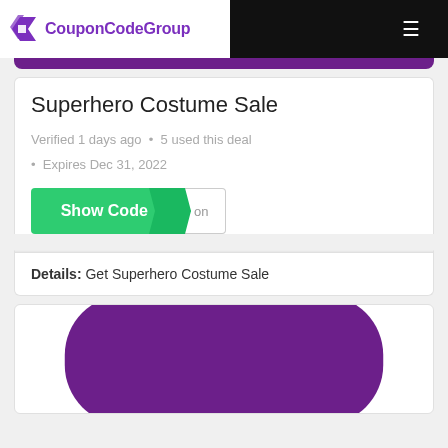CouponCodeGroup
Superhero Costume Sale
Verified 1 days ago • 5 used this deal
• Expires Dec 31, 2022
[Figure (other): Show Code button with green background and arrow overlay, with 'on' text stub on the right]
Details: Get Superhero Costume Sale
[Figure (other): Purple rounded rectangle shape partially visible at bottom of page]